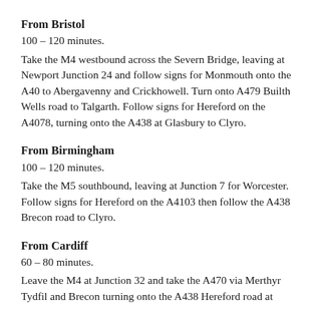From Bristol
100 – 120 minutes.
Take the M4 westbound across the Severn Bridge, leaving at Newport Junction 24 and follow signs for Monmouth onto the A40 to Abergavenny and Crickhowell. Turn onto A479 Builth Wells road to Talgarth. Follow signs for Hereford on the A4078, turning onto the A438 at Glasbury to Clyro.
From Birmingham
100 – 120 minutes.
Take the M5 southbound, leaving at Junction 7 for Worcester. Follow signs for Hereford on the A4103 then follow the A438 Brecon road to Clyro.
From Cardiff
60 – 80 minutes.
Leave the M4 at Junction 32 and take the A470 via Merthyr Tydfil and Brecon turning onto the A438 Hereford road at